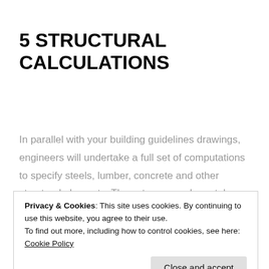5 STRUCTURAL CALCULATIONS
In parallel with your building guidelines drawings, engineers will undertake a full set of computations to specify steels, lumber, concrete and other structural elements. These two procedures take around 2 weeks to complete and are definitely vital for your structure works to start. These files will permit you to acquire precise prices from any builder.
Privacy & Cookies: This site uses cookies. By continuing to use this website, you agree to their use.
To find out more, including how to control cookies, see here: Cookie Policy
A building and construction evaluation team can n